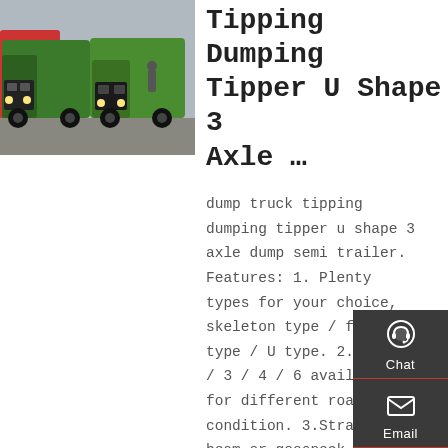[Figure (photo): Two green heavy-duty trucks (dump trucks) parked in a yard with red vehicles in the background]
Tipping Dumping Tipper U Shape 3 Axle …
dump truck tipping dumping tipper u shape 3 axle dump semi trailer. Features: 1. Plenty types for your choice, skeleton type / flat type / U type. 2.Axle 2 / 3 / 4 / 6 available for different road condition. 3.Straight beam or goosneck type optional. 4.Container